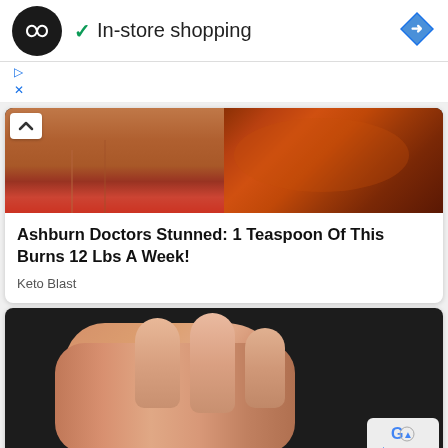[Figure (screenshot): App logo — dark circle with two overlapping infinity/loop arrows in white]
✓  In-store shopping
[Figure (logo): Blue diamond navigation/maps icon with white right-arrow]
▷
✕
[Figure (photo): Split image: left showing muscular torso/abs, right showing spice powder in a pan]
Ashburn Doctors Stunned: 1 Teaspoon Of This Burns 12 Lbs A Week!
Keto Blast
[Figure (photo): Close-up photo of a clenched fist/knuckles against a dark gym weight rack background]
Privacy · Terms